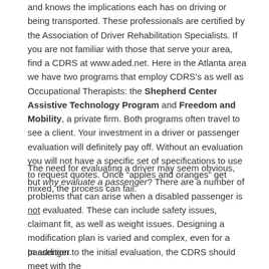and knows the implications each has on driving or being transported. These professionals are certified by the Association of Driver Rehabilitation Specialists. If you are not familiar with those that serve your area, find a CDRS at www.aded.net. Here in the Atlanta area we have two programs that employ CDRS's as well as Occupational Therapists: the Shepherd Center Assistive Technology Program and Freedom and Mobility, a private firm. Both programs often travel to see a client. Your investment in a driver or passenger evaluation will definitely pay off. Without an evaluation you will not have a specific set of specifications to use to request quotes. Once “apples and oranges” get mixed, the process can fail.
The need for evaluating a driver may seem obvious, but why evaluate a passenger? There are a number of problems that can arise when a disabled passenger is not evaluated. These can include safety issues, claimant fit, as well as weight issues. Designing a modification plan is varied and complex, even for a passenger.
In addition to the initial evaluation, the CDRS should meet with the